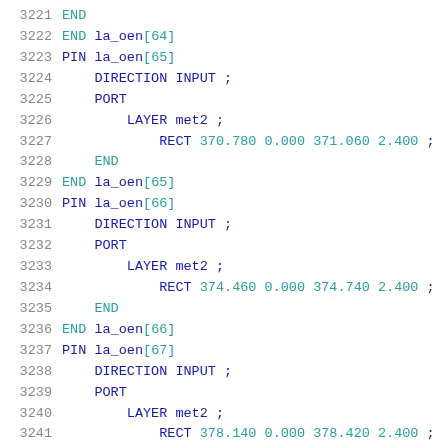3221    END
3222    END la_oen[64]
3223    PIN la_oen[65]
3224      DIRECTION INPUT ;
3225      PORT
3226        LAYER met2 ;
3227          RECT 370.780 0.000 371.060 2.400 ;
3228      END
3229    END la_oen[65]
3230    PIN la_oen[66]
3231      DIRECTION INPUT ;
3232      PORT
3233        LAYER met2 ;
3234          RECT 374.460 0.000 374.740 2.400 ;
3235      END
3236    END la_oen[66]
3237    PIN la_oen[67]
3238      DIRECTION INPUT ;
3239      PORT
3240        LAYER met2 ;
3241          RECT 378.140 0.000 378.420 2.400 ;